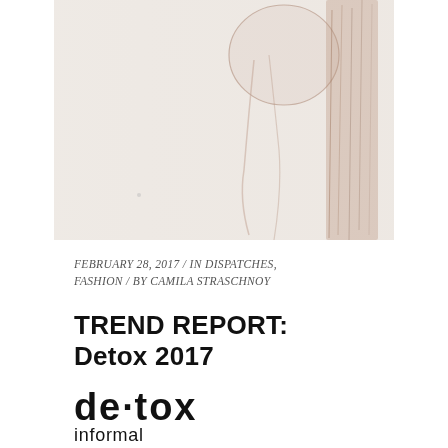[Figure (illustration): A minimalist sketch/watercolor illustration of a figure in pale beige tones, with a circular shape and vertical brushstroke suggesting a person or abstract form against a light background.]
FEBRUARY 28, 2017  /  IN DISPATCHES, FASHION  /  BY CAMILA STRASCHNOY
TREND REPORT: Detox 2017
de·tox informal